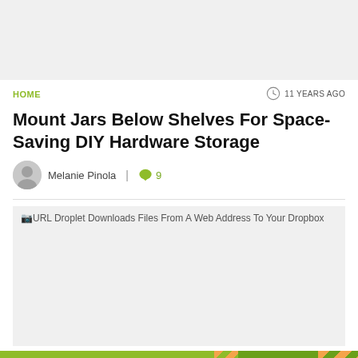[Figure (other): Top banner placeholder image area, light gray background]
HOME
11 YEARS AGO
Mount Jars Below Shelves For Space-Saving DIY Hardware Storage
Melanie Pinola | 9
[Figure (photo): URL Droplet Downloads Files From A Web Address To Your Dropbox - gray placeholder image]
[Figure (other): Lifehacker advertisement banner - Follow Us On Twitter]